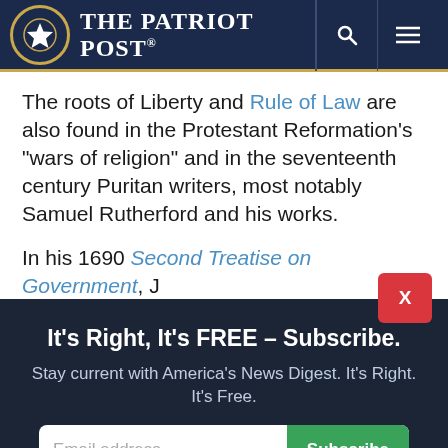The Patriot Post
The roots of Liberty and Rule of Law are also found in the Protestant Reformation’s “wars of religion” and in the seventeenth century Puritan writers, most notably Samuel Rutherford and his works.
In his 1690 Second Treatise on Government, J
It’s Right, It’s FREE – Subscribe.
Stay current with America’s News Digest. It's Right. It's Free.
Email address
Subscribe
I’m Already Subscribed